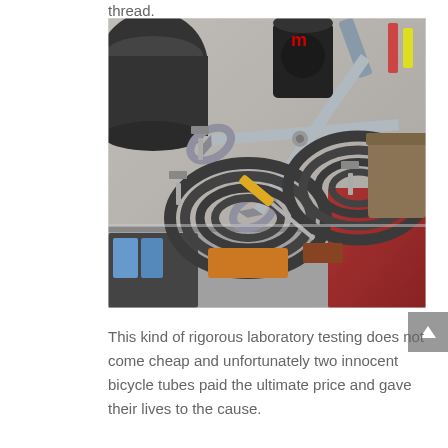thread.
[Figure (photo): Workshop/garage scene with coiled bicycle inner tubes, scissors, a screwdriver, and various other tools on a workbench surface.]
This kind of rigorous laboratory testing does not come cheap and unfortunately two innocent bicycle tubes paid the ultimate price and gave their lives to the cause.